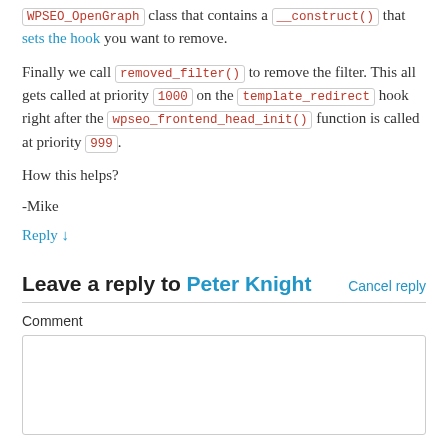WPSEO_OpenGraph class that contains a __construct() that sets the hook you want to remove.
Finally we call removed_filter() to remove the filter. This all gets called at priority 1000 on the template_redirect hook right after the wpseo_frontend_head_init() function is called at priority 999.
How this helps?
-Mike
Reply ↓
Leave a reply to Peter Knight
Cancel reply
Comment